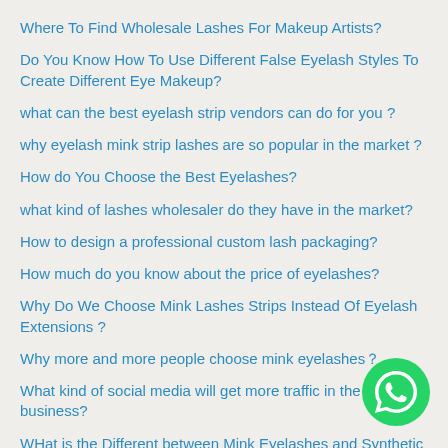Where To Find Wholesale Lashes For Makeup Artists?
Do You Know How To Use Different False Eyelash Styles To Create Different Eye Makeup?
what can the best eyelash strip vendors can do for you ?
why eyelash mink strip lashes are so popular in the market ?
How do You Choose the Best Eyelashes?
what kind of lashes wholesaler do they have in the market?
How to design a professional custom lash packaging?
How much do you know about the price of eyelashes?
Why Do We Choose Mink Lashes Strips Instead Of Eyelash Extensions ?
Why more and more people choose mink eyelashes？
What kind of social media will get more traffic in the eyelash business?
WHat is the Different between Mink Eyelashes and Synthetic
[Figure (logo): WhatsApp contact button - green circle with white phone handset icon]